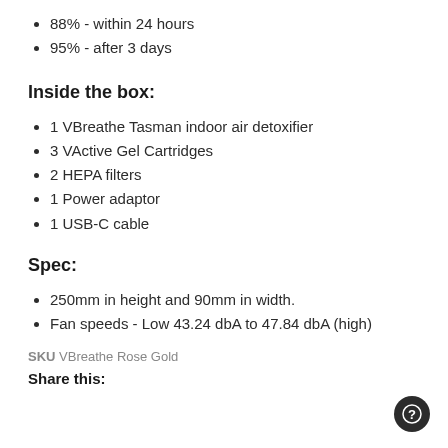88% - within 24 hours
95% - after 3 days
Inside the box:
1 VBreathe Tasman indoor air detoxifier
3 VActive Gel Cartridges
2 HEPA filters
1 Power adaptor
1 USB-C cable
Spec:
250mm in height and 90mm in width.
Fan speeds - Low 43.24 dbA to 47.84 dbA (high)
SKU VBreathe Rose Gold
Share this: